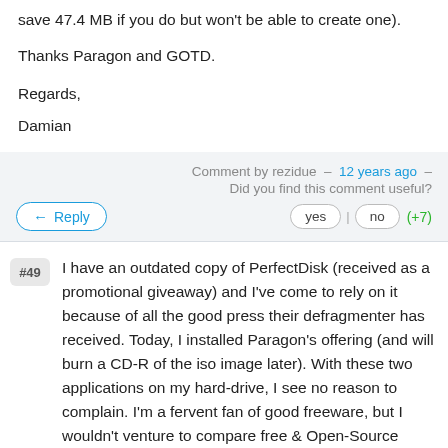save 47.4 MB if you do but won't be able to create one).
Thanks Paragon and GOTD.
Regards,
Damian
Comment by rezidue – 12 years ago – Did you find this comment useful?
Reply
yes | no (+7)
#49 I have an outdated copy of PerfectDisk (received as a promotional giveaway) and I've come to rely on it because of all the good press their defragmenter has received. Today, I installed Paragon's offering (and will burn a CD-R of the iso image later). With these two applications on my hard-drive, I see no reason to complain. I'm a fervent fan of good freeware, but I wouldn't venture to compare free & Open-Source products to their commercial counterparts. XP systems and newer are tough to break if you're willing to spend time maintaining them, using tools like GOTD...